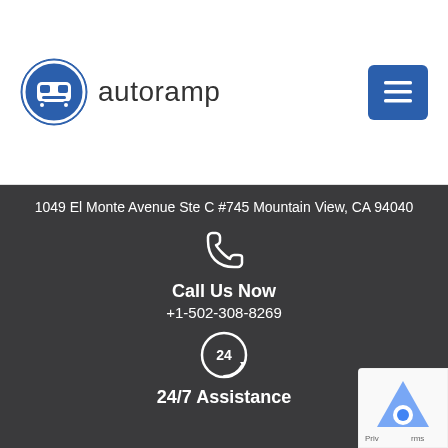[Figure (logo): Autoramp logo: circular icon with a car/robot face graphic in blue, followed by the text 'autoramp' in dark sans-serif]
[Figure (other): Blue square hamburger menu button with three horizontal white lines]
1049 El Monte Avenue Ste C #745 Mountain View, CA 94040
[Figure (other): White phone handset icon]
Call Us Now
+1-502-308-8269
[Figure (other): White circular 24-hours icon with arrow]
24/7 Assistance